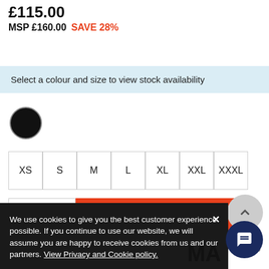£115.00
MSP £160.00  SAVE 28%
Select a colour and size to view stock availability
[Figure (other): Black filled circle colour swatch]
XS  S  M  L  XL  XXL  XXXL (size selection buttons)
− 1 +  ADD TO BASKET
Product ID: 1309766
We use cookies to give you the best customer experience possible. If you continue to use our website, we will assume you are happy to receive cookies from us and our partners. View Privacy and Cookie policy.
REVIEWS  Q&A